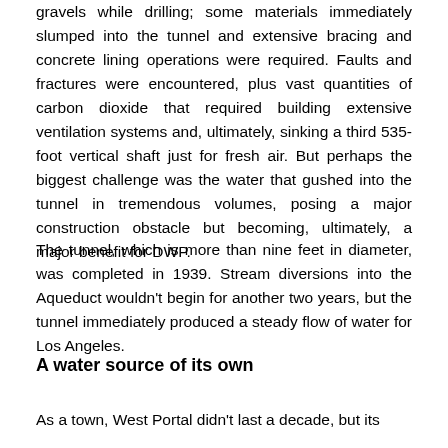gravels while drilling; some materials immediately slumped into the tunnel and extensive bracing and concrete lining operations were required. Faults and fractures were encountered, plus vast quantities of carbon dioxide that required building extensive ventilation systems and, ultimately, sinking a third 535-foot vertical shaft just for fresh air. But perhaps the biggest challenge was the water that gushed into the tunnel in tremendous volumes, posing a major construction obstacle but becoming, ultimately, a major benefit for DWP.
The tunnel, which is more than nine feet in diameter, was completed in 1939. Stream diversions into the Aqueduct wouldn't begin for another two years, but the tunnel immediately produced a steady flow of water for Los Angeles.
A water source of its own
As a town, West Portal didn't last a decade, but its